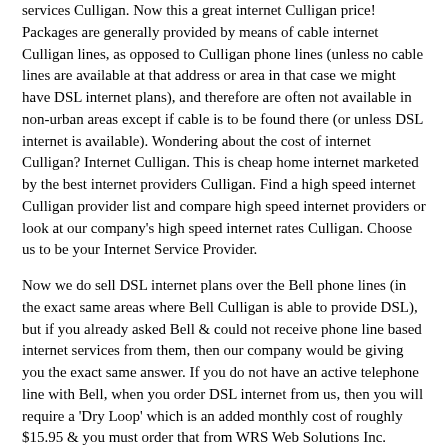services Culligan. Now this a great internet Culligan price! Packages are generally provided by means of cable internet Culligan lines, as opposed to Culligan phone lines (unless no cable lines are available at that address or area in that case we might have DSL internet plans), and therefore are often not available in non-urban areas except if cable is to be found there (or unless DSL internet is available). Wondering about the cost of internet Culligan? Internet Culligan. This is cheap home internet marketed by the best internet providers Culligan. Find a high speed internet Culligan provider list and compare high speed internet providers or look at our company's high speed internet rates Culligan. Choose us to be your Internet Service Provider.
Now we do sell DSL internet plans over the Bell phone lines (in the exact same areas where Bell Culligan is able to provide DSL), but if you already asked Bell & could not receive phone line based internet services from them, then our company would be giving you the exact same answer. If you do not have an active telephone line with Bell, when you order DSL internet from us, then you will require a 'Dry Loop' which is an added monthly cost of roughly $15.95 & you must order that from WRS Web Solutions Inc. during the on-line order process as a 'add on' option on the purchase. Internet providers Culligan.
Find Internet Culligan